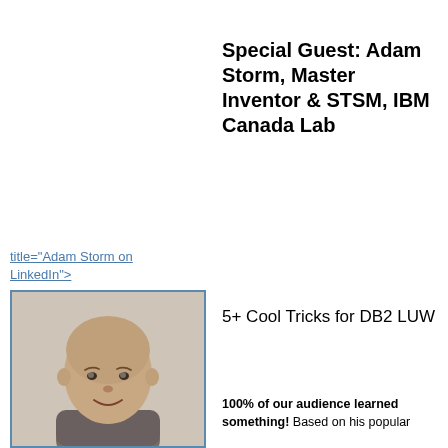Special Guest: Adam Storm, Master Inventor & STSM, IBM Canada Lab
title="Adam Storm on LinkedIn">
[Figure (photo): Headshot photo of Adam Storm, a man with a shaved head, smiling, wearing a grey shirt, with a light background.]
5+ Cool Tricks for DB2 LUW
100% of our audience learned something! Based on his popular